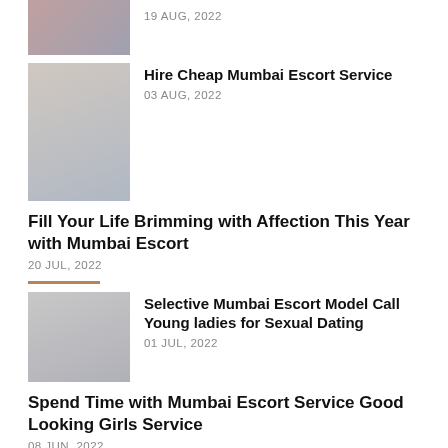[Figure (photo): Partial view of a woman in crop top, cut off at top]
19 AUG, 2022
[Figure (photo): Woman in white outfit sitting on bed]
Hire Cheap Mumbai Escort Service
03 AUG, 2022
Fill Your Life Brimming with Affection This Year with Mumbai Escort
20 JUL, 2022
[Figure (photo): Partial image placeholder]
Selective Mumbai Escort Model Call Young ladies for Sexual Dating
01 JUL, 2022
Spend Time with Mumbai Escort Service Good Looking Girls Service
08 JUN, 2022
Mumbai Ladies Seeking Men Mumbai escort service 24*7
27 MAY, 2022